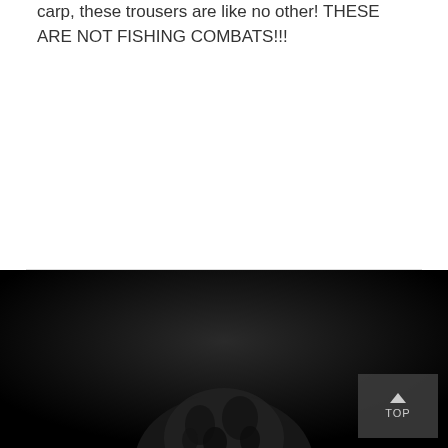carp, these trousers are like no other! THESE ARE NOT FISHING COMBATS!!!
[Figure (photo): Dark background with a large animal (possibly a tiger or leopard) partially visible at the bottom center of a black footer section]
TOP